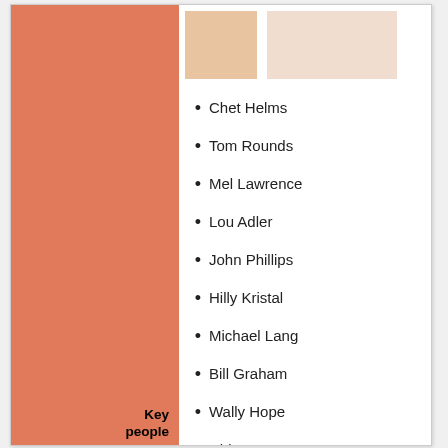Chet Helms
Tom Rounds
Mel Lawrence
Lou Adler
John Phillips
Hilly Kristal
Michael Lang
Bill Graham
Wally Hope
Ubi Dwyer
Sid Rawle
Bill Hanley
Wavy Gravy
Freddy Bannister
Barry Fey
Key people
Merry Pranksters